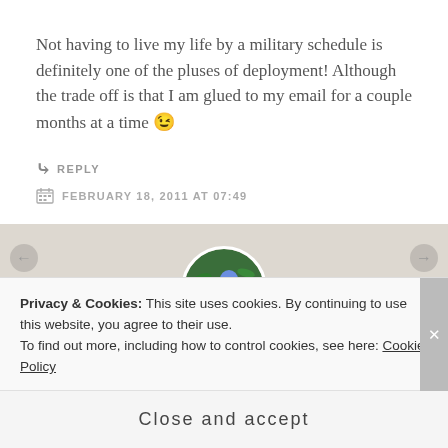Not having to live my life by a military schedule is definitely one of the pluses of deployment! Although the trade off is that I am glued to my email for a couple months at a time 😉
↳ REPLY
FEBRUARY 18, 2011 AT 07:49
[Figure (photo): Circular avatar photo of blue hydrangea flowers with green leaves]
To the Nth
Privacy & Cookies: This site uses cookies. By continuing to use this website, you agree to their use.
To find out more, including how to control cookies, see here: Cookie Policy
Close and accept